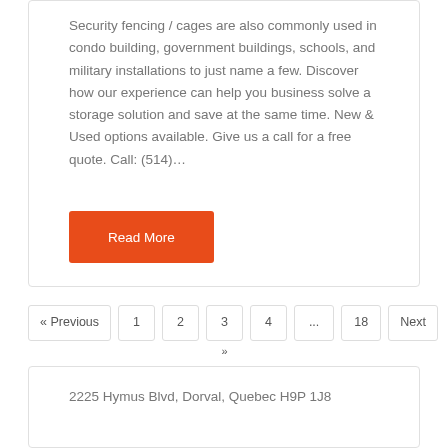Security fencing / cages are also commonly used in condo building, government buildings, schools, and military installations to just name a few. Discover how our experience can help you business solve a storage solution and save at the same time. New & Used options available. Give us a call for a free quote. Call: (514)...
Read More
« Previous  1  2  3  4  ...  18  Next »
2225 Hymus Blvd, Dorval, Quebec H9P 1J8